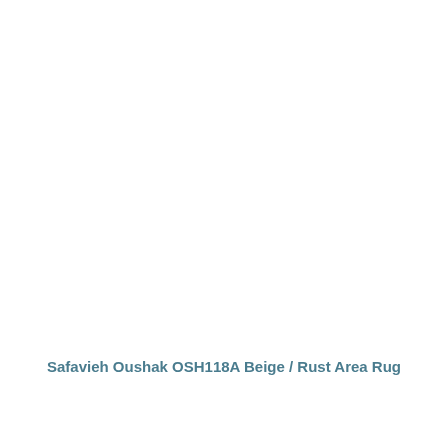Safavieh Oushak OSH118A Beige / Rust Area Rug